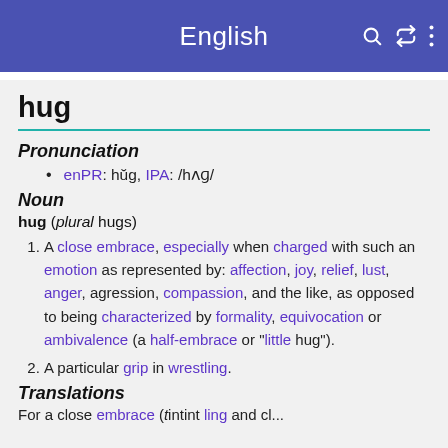English
hug
Pronunciation
enPR: hŭg, IPA: /hʌɡ/
Noun
hug (plural hugs)
A close embrace, especially when charged with such an emotion as represented by: affection, joy, relief, lust, anger, agression, compassion, and the like, as opposed to being characterized by formality, equivocation or ambivalence (a half-embrace or "little hug").
A particular grip in wrestling.
Translations
For a close...